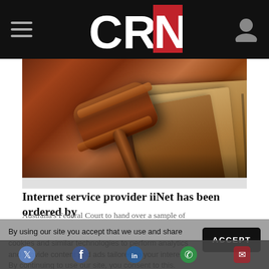CRN
[Figure (photo): Close-up photo of a wooden judge's gavel resting near a stack of law books with warm brown tones]
Internet service provider iiNet has been ordered by Australia's Federal Court to hand over a sample of its users' information to the Dallas Buyers Club even as the case continues.
By using our site you accept that we use and share cookies and similar technologies to perform analytics and provide content and ads tailored to your interests. By continuing to use our site, you consent to this. Please see our Cookie Policy for more information.